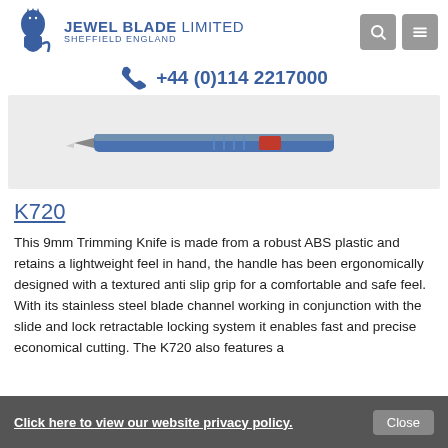JEWEL BLADE LIMITED SHEFFIELD ENGLAND
+44 (0)114 2217000
[Figure (photo): A 9mm trimming knife with blue ABS plastic body, stainless steel blade channel, red slider lock, and grey metal tip on a light grey background.]
K720
This 9mm Trimming Knife is made from a robust ABS plastic and retains a lightweight feel in hand, the handle has been ergonomically designed with a textured anti slip grip for a comfortable and safe feel. With its stainless steel blade channel working in conjunction with the slide and lock retractable locking system it enables fast and precise economical cutting. The K720 also features a
Click here to view our website privacy policy.   Close